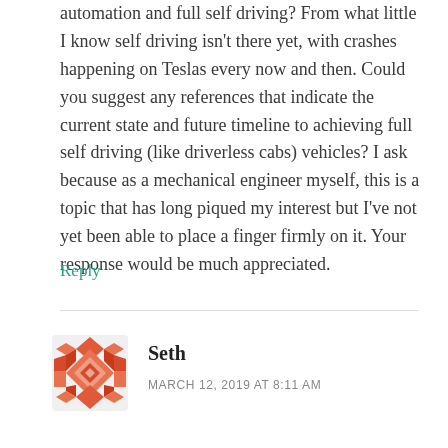automation and full self driving? From what little I know self driving isn't there yet, with crashes happening on Teslas every now and then. Could you suggest any references that indicate the current state and future timeline to achieving full self driving (like driverless cabs) vehicles? I ask because as a mechanical engineer myself, this is a topic that has long piqued my interest but I've not yet been able to place a finger firmly on it. Your response would be much appreciated.
Reply
[Figure (illustration): Geometric mosaic avatar icon in red/orange colors with diamond and cross patterns]
Seth
MARCH 12, 2019 AT 8:11 AM